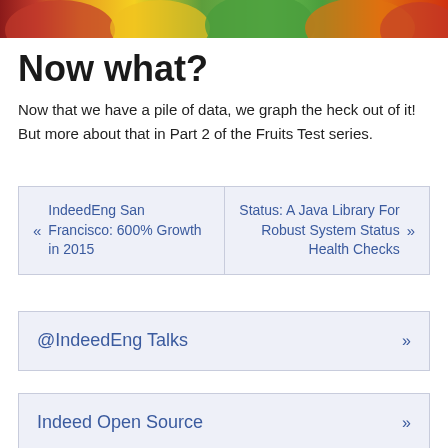[Figure (photo): Photograph of colorful fruits including apples, pears, kiwi, and oranges cropped at the top of the page]
Now what?
Now that we have a pile of data, we graph the heck out of it! But more about that in Part 2 of the Fruits Test series.
« IndeedEng San Francisco: 600% Growth in 2015
Status: A Java Library For Robust System Status Health Checks »
@IndeedEng Talks »
Indeed Open Source »